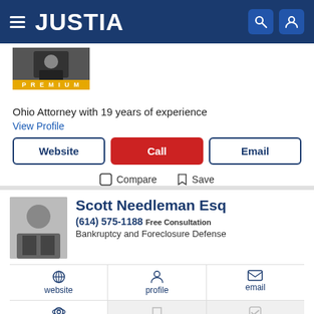JUSTIA
[Figure (photo): Attorney profile photo with PREMIUM badge]
Ohio Attorney with 19 years of experience
View Profile
Website | Call | Email
Compare  Save
Scott Needleman Esq
(614) 575-1188 Free Consultation
Bankruptcy and Foreclosure Defense
website  profile  email
Recent (0)  Saved (0)  Compare (0/3)